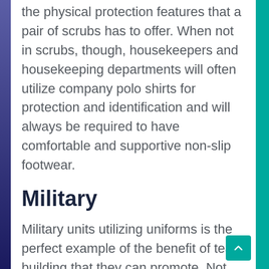the physical protection features that a pair of scrubs has to offer. When not in scrubs, though, housekeepers and housekeeping departments will often utilize company polo shirts for protection and identification and will always be required to have comfortable and supportive non-slip footwear.
Military
Military units utilizing uniforms is the perfect example of the benefit of team building that they can promote. Not only does a unit's uniform offer bonds building afford abilities...